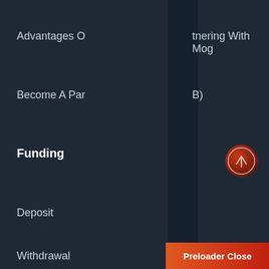Advantages Of partnering With Mog
Become A Partner (B)
Funding
Deposit
Withdrawal
[Figure (other): Orange loading spinner parentheses symbol ( )]
[Figure (other): Scroll to top circular button with upward arrow]
Trading Foreign Exchange Currency Pairs (FOREX) and/or Contracts for Difference (CFDs) on margin carries a high level of risk to your capital. These derivatives may not be suitable for all investors. Moga International Group LLC Product Disclosure Statement (PDS) Financial Services Guide on our website. Consideration should be given to experience, knowledge of financial marks
Preloader Close